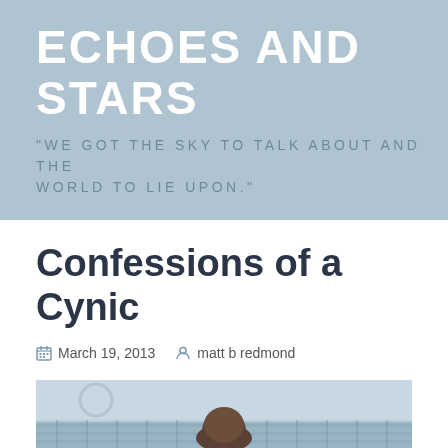ECHOES AND STARS
"WE GOT THE SKY TO TALK ABOUT AND THE WORLD TO LIE UPON."
Confessions of a Cynic
March 19, 2013   matt b redmond
[Figure (photo): A person viewed from behind with short brown hair, photographed outdoors near a structure, in muted blue-grey tones]